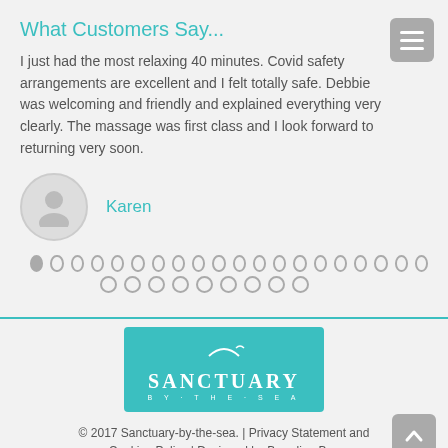What Customers Say...
I just had the most relaxing 40 minutes.  Covid safety arrangements are excellent and I felt totally safe.  Debbie was welcoming and friendly and explained everything very clearly.  The massage was first class and I look forward to returning very soon.
Karen
[Figure (other): Pagination dots: 20 circles in first row (first filled), 9 circles in second row]
[Figure (logo): Sanctuary By The Sea logo — teal/turquoise background with white text]
© 2017 Sanctuary-by-the-sea. | Privacy Statement and Cookies Policy | Designed by Branding Bay